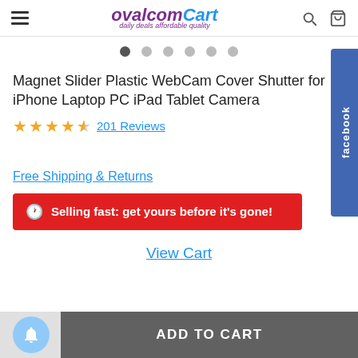ovalcomCart — daily deals affordable quality
[Figure (screenshot): Carousel dot indicators showing 6 dots, first one active (dark)]
Magnet Slider Plastic WebCam Cover Shutter for iPhone Laptop PC iPad Tablet Camera
★★★★½ 201 Reviews
Free Shipping & Returns
🕐 Selling fast: get yours before it's gone!
View Cart
ADD TO CART